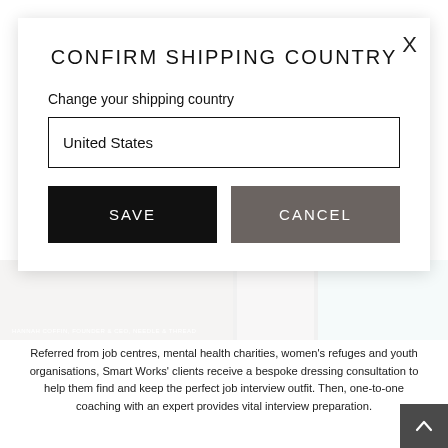CONFIRM SHIPPING COUNTRY
Change your shipping country
United States
SAVE
CANCEL
[Figure (photo): Photo strip showing a person and abstract teal/blue shapes, with text overlay: HANNAH COFFIN, FOUNDER & CEO, NEEDLE & THREAD]
Referred from job centres, mental health charities, women's refuges and youth organisations, Smart Works' clients receive a bespoke dressing consultation to help them find and keep the perfect job interview outfit. Then, one-to-one coaching with an expert provides vital interview preparation.
And so, we couldn't wait to support The Big Stella x Smart Works Fashion Sale, in collaboration with our friends at Bobbi Brown. The stunning Georgian rooms of London's iconic Somerset House proved the perfect backdrop to a unique two-day shopping experience. Coveted fashion and beauty brands offered their favourite pieces to